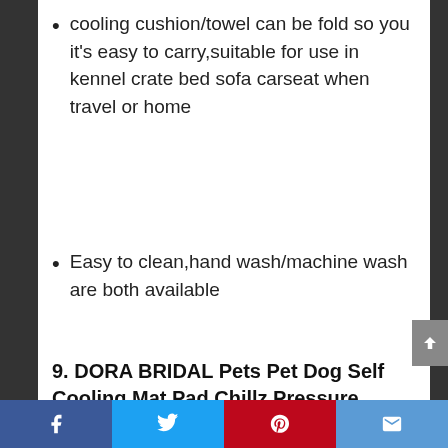cooling cushion/towel can be fold so you it's easy to carry,suitable for use in kennel crate bed sofa carseat when travel or home
Easy to clean,hand wash/machine wash are both available
9. DORA BRIDAL Pets Pet Dog Self Cooling Mat Pad,Chillz Pressure Activated Pet Cooling Gel Pad,Machine Washable Summer Sleep Cooling Breathable Mat/Pad Easy to Clean